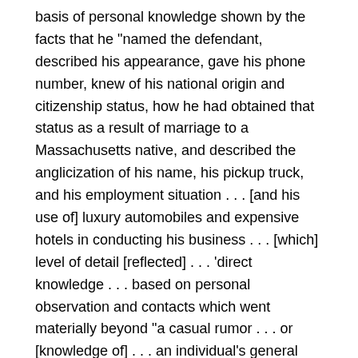basis of personal knowledge shown by the facts that he "named the defendant, described his appearance, gave his phone number, knew of his national origin and citizenship status, how he had obtained that status as a result of marriage to a Massachusetts native, and described the anglicization of his name, his pickup truck, and his employment situation . . . [and his use of] luxury automobiles and expensive hotels in conducting his business . . . [which] level of detail [reflected] . . . 'direct knowledge . . . based on personal observation and contacts which went materially beyond "a casual rumor . . . or [knowledge of] . . . an individual's general reputation" ' "); Commonwealth v. Fleming, 37 Mass. App. Ct. 927, 928 (1994).
Nonetheless, despite the fact that what the tipster described "did not reveal any special familiarity . . . that